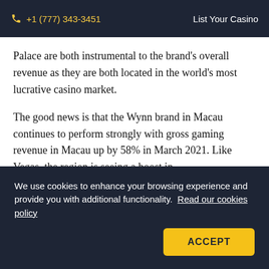+1 (777) 343-3451  List Your Casino
Palace are both instrumental to the brand's overall revenue as they are both located in the world's most lucrative casino market.
The good news is that the Wynn brand in Macau continues to perform strongly with gross gaming revenue in Macau up by 58% in March 2021. Like Vegas, the region is seeing a boost in visitation numbers from tourists arriving from Mainland China
We use cookies to enhance your browsing experience and provide you with additional functionality.  Read our cookies policy
ACCEPT